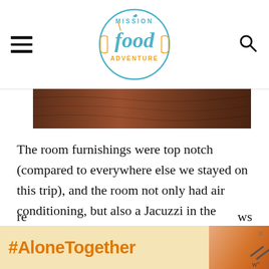Mission Food Adventure
[Figure (photo): Partial photo of wooden table or floor, reddish-brown wood grain visible]
The room furnishings were top notch (compared to everywhere else we stayed on this trip), and the room not only had air conditioning, but also a Jacuzzi in the bathroom. We had some issues with water pressure in the shower, which was unfortunate, but overall enjoyed this hotel the most for location, room,
[Figure (infographic): #AloneTogether advertisement banner at bottom of page]